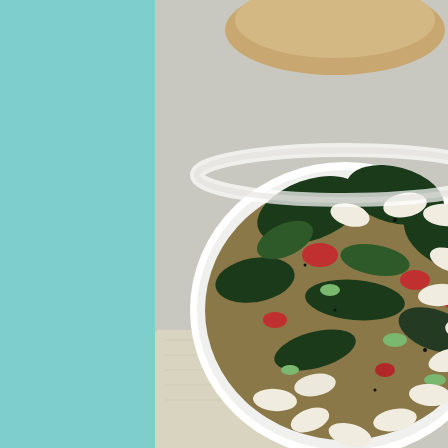[Figure (photo): A white bowl filled with Italian bean and chard soup, showing white cannellini beans, dark green chard leaves, red tomatoes, and green celery in a broth. A linen napkin and bread are visible in the background.]
Italian Bean & Chard Soup W... Toast
Advertisements